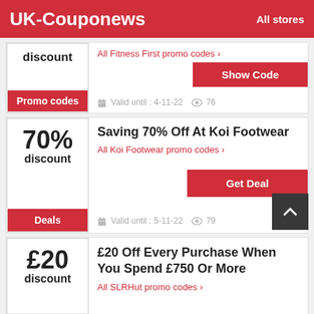UK-Couponews    All stores
discount — Promo codes — All Fitness First promo codes › — Show Code — Valid until : 4-11-22 — 76
Saving 70% Off At Koi Footwear — 70% discount — Deals — All Koi Footwear promo codes › — Get Deal — Valid until : 5-11-22 — 79
£20 Off Every Purchase When You Spend £750 Or More — £20 discount — All SLRHut promo codes ›